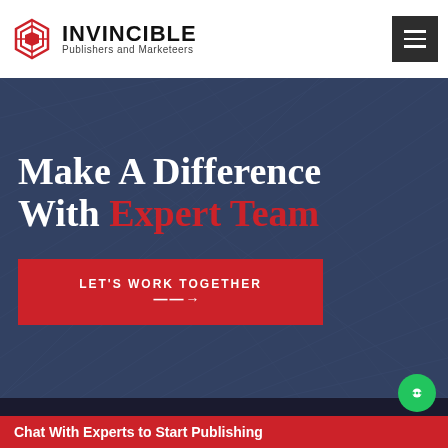[Figure (logo): Invincible Publishers and Marketeers logo with red geometric icon and bold black text]
Make A Difference With Expert Team
LET'S WORK TOGETHER →
[Figure (screenshot): Hero background – dark blue/slate architectural diagonal lines background]
Chat With Experts to Start Publishing